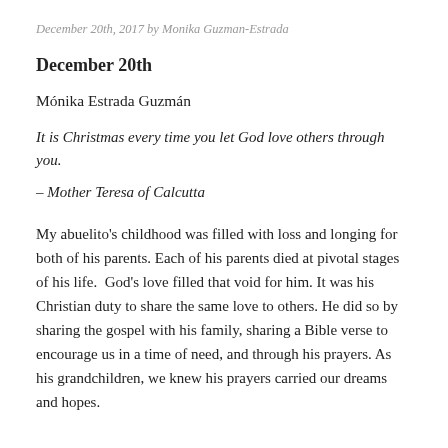December 20th, 2017 by Monika Guzman-Estrada
December 20th
Mónika Estrada Guzmán
It is Christmas every time you let God love others through you.
– Mother Teresa of Calcutta
My abuelito's childhood was filled with loss and longing for both of his parents. Each of his parents died at pivotal stages of his life.  God's love filled that void for him. It was his Christian duty to share the same love to others. He did so by sharing the gospel with his family, sharing a Bible verse to encourage us in a time of need, and through his prayers. As his grandchildren, we knew his prayers carried our dreams and hopes.